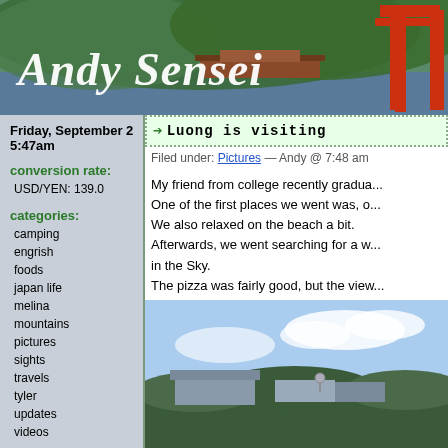[Figure (photo): Andy Sensei blog header banner with Japanese torii gate, temple buildings, water, and forested hills. White italic cursive text reads 'Andy Sensei'.]
Andy Sensei
Friday, September 2 5:47am
conversion rate:
USD/YEN: 139.0
categories:
camping
engrish
foods
japan life
melina
mountains
pictures
sights
travels
tyler
updates
videos
search:
photo galleries:
Luong is visiting
Filed under: Pictures — Andy @ 7:48 am
My friend from college recently gradua... One of the first places we went was, o... We also relaxed on the beach a bit. Afterwards, we went searching for a w... in the Sky. The pizza was fairly good, but the view...
[Figure (photo): Outdoor photo showing buildings on a hillside with trees and cloudy blue sky.]